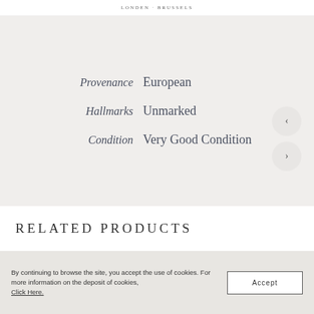LONDEN · BRUSSELS
Provenance  European
Hallmarks  Unmarked
Condition  Very Good Condition
RELATED PRODUCTS
By continuing to browse the site, you accept the use of cookies. For more information on the deposit of cookies, Click Here.